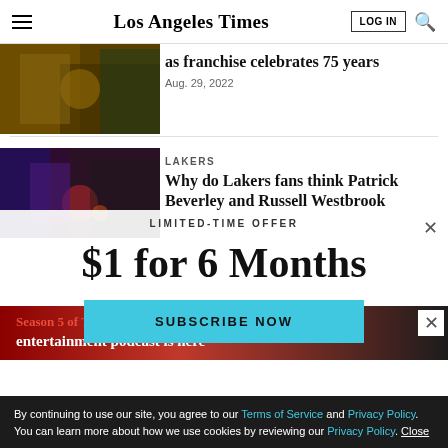Los Angeles Times
[Figure (photo): Basketball players, Lakers jerseys, celebration scene]
as franchise celebrates 75 years
Aug. 29, 2022
[Figure (photo): Lakers player with basketball, defensive play]
LAKERS
Why do Lakers fans think Patrick Beverley and Russell Westbrook
LIMITED-TIME OFFER
$1 for 6 Months
SUBSCRIBE NOW
Season 5 of The Times entertainment podcast is here
By continuing to use our site, you agree to our Terms of Service and Privacy Policy. You can learn more about how we use cookies by reviewing our Privacy Policy. Close